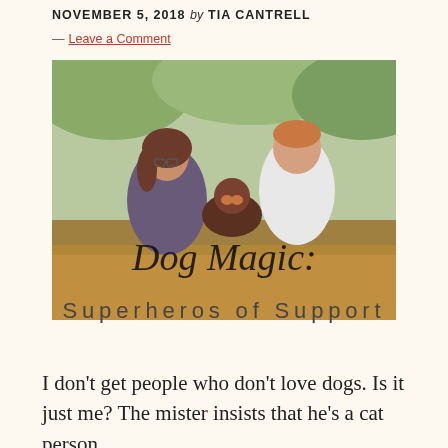NOVEMBER 5, 2018 by TIA CANTRELL — Leave a Comment
[Figure (photo): A couple crouching outdoors on fallen autumn leaves, holding a dog between them. A woman with glasses and long hair on the left, a young man in a white t-shirt on the right. Text overlay reads 'Dog Magic:' in script and 'Superheros of Support' in spaced sans-serif below.]
Dog Magic: Superheros of Support
I don’t get people who don’t love dogs. Is it just me? The mister insists that he’s a cat person…